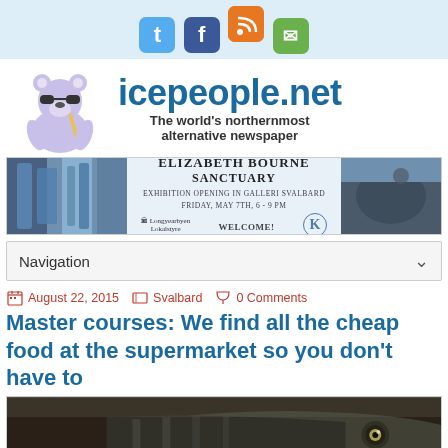[Figure (other): Social media icon buttons: Twitter (blue), Facebook (dark blue), RSS (orange), Email (green)]
[Figure (logo): icepeople.net logo with polar bear mascot wearing sunglasses, site name in blue, tagline 'The world's northernmost alternative newspaper']
[Figure (other): Banner advertisement for Elizabeth Bourne Sanctuary exhibition at Galleri Svalbard, Friday May 7th 6-9pm, with abstract blue artwork on left and right]
Navigation
August 22, 2015   Svalbard   0 Comments
Master courses: We find all the cheap food at the supermarket so you don't have to
[Figure (photo): Close-up photo of a fish head, appearing to be a mackerel or similar fish, dark and silver tones]